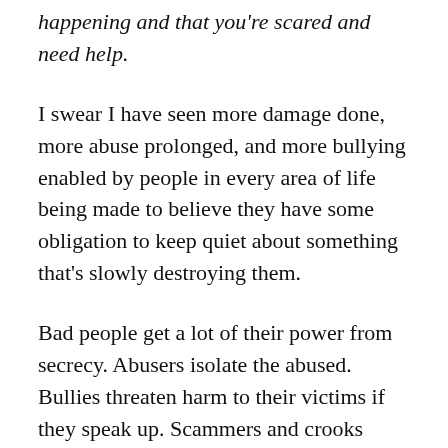happening and that you're scared and need help.
I swear I have seen more damage done, more abuse prolonged, and more bullying enabled by people in every area of life being made to believe they have some obligation to keep quiet about something that's slowly destroying them.
Bad people get a lot of their power from secrecy. Abusers isolate the abused. Bullies threaten harm to their victims if they speak up. Scammers and crooks threaten harm to people who go to the authorities for help. Bosses manipulate and intimidate their employees who don't know better into keeping silent